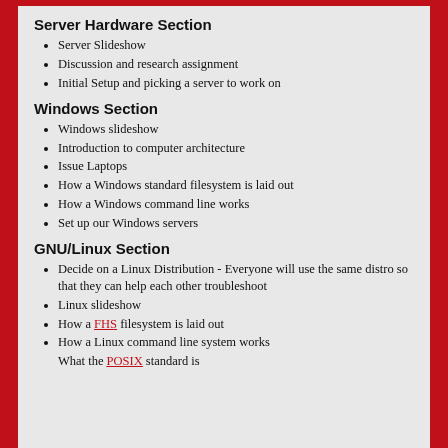Server Hardware Section
Server Slideshow
Discussion and research assignment
Initial Setup and picking a server to work on
Windows Section
Windows slideshow
Introduction to computer architecture
Issue Laptops
How a Windows standard filesystem is laid out
How a Windows command line works
Set up our Windows servers
GNU/Linux Section
Decide on a Linux Distribution - Everyone will use the same distro so that they can help each other troubleshoot
Linux slideshow
How a FHS filesystem is laid out
How a Linux command line system works
What the POSIX standard is